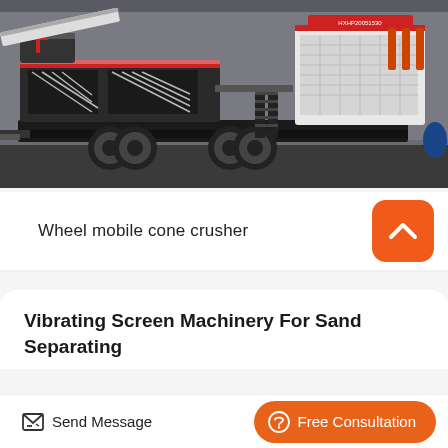[Figure (photo): Wheel mobile cone crusher machine on a wheeled chassis, photographed in an industrial facility. Large industrial crusher mounted on a trailer with dual wheels, stairs/access ladder, and white cone crusher unit with red accent stripes and label HXHP20051530.]
Wheel mobile cone crusher
Vibrating Screen Machinery For Sand Separating
Send Message
Free Consultation